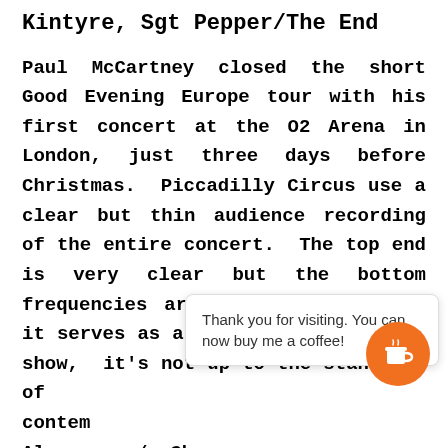Kintyre, Sgt Pepper/The End
Paul McCartney closed the short Good Evening Europe tour with his first concert at the O2 Arena in London, just three days before Christmas.  Piccadilly Circus use a clear but thin audience recording of the entire concert.  The top end is very clear but the bottom frequencies are very thin.  While it serves as a nice document of the show, it's not up to the standard of contem[porary releases]. Also, u[nknown] / Circ[us]
Thank you for visiting. You can now buy me a coffee!